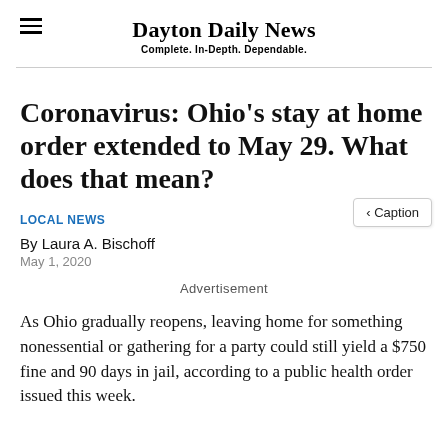Dayton Daily News
Complete. In-Depth. Dependable.
Coronavirus: Ohio’s stay at home order extended to May 29. What does that mean?
‹ Caption
LOCAL NEWS
By Laura A. Bischoff
May 1, 2020
Advertisement
As Ohio gradually reopens, leaving home for something nonessential or gathering for a party could still yield a $750 fine and 90 days in jail, according to a public health order issued this week.